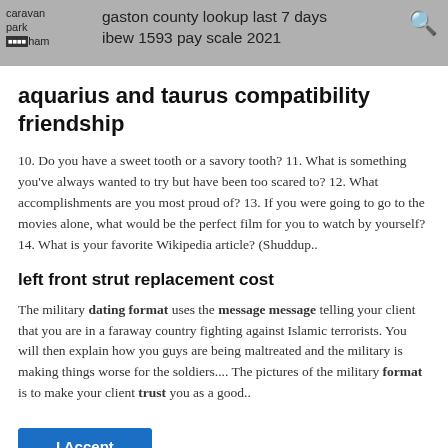caravan park ham | gaston county lookup last 7 days ibew 1593 pay scale 2021
aquarius and taurus compatibility friendship
10. Do you have a sweet tooth or a savory tooth? 11. What is something you've always wanted to try but have been too scared to? 12. What accomplishments are you most proud of? 13. If you were going to go to the movies alone, what would be the perfect film for you to watch by yourself? 14. What is your favorite Wikipedia article? (Shuddup..
left front strut replacement cost
The military dating format uses the message message telling your client that you are in a faraway country fighting against Islamic terrorists. You will then explain how you guys are being maltreated and the military is making things worse for the soldiers.... The pictures of the military format is to make your client trust you as a good..